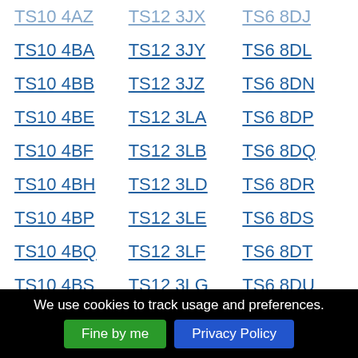TS10 4AZ
TS12 3JX
TS6 8DJ
TS10 4BA
TS12 3JY
TS6 8DL
TS10 4BB
TS12 3JZ
TS6 8DN
TS10 4BE
TS12 3LA
TS6 8DP
TS10 4BF
TS12 3LB
TS6 8DQ
TS10 4BH
TS12 3LD
TS6 8DR
TS10 4BP
TS12 3LE
TS6 8DS
TS10 4BQ
TS12 3LF
TS6 8DT
TS10 4BS
TS12 3LG
TS6 8DU
TS10 4BT
TS12 3LH
TS6 8DW
TS10 4BW
TS12 3LJ
TS6 8DX
TS10 4DF
TS12 3LL
TS6 8DY
TS10 4DL
TS12 3LN
TS6 8DZ
We use cookies to track usage and preferences.
Fine by me
Privacy Policy